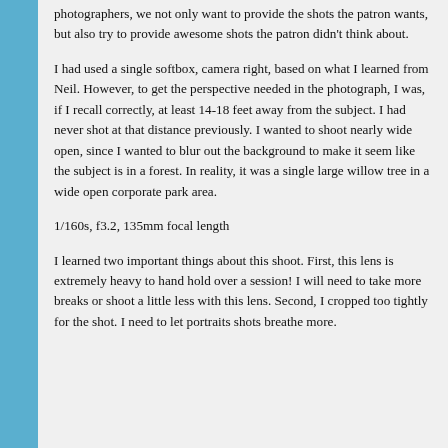photographers, we not only want to provide the shots the patron wants, but also try to provide awesome shots the patron didn’t think about.
I had used a single softbox, camera right, based on what I learned from Neil. However, to get the perspective needed in the photograph, I was, if I recall correctly, at least 14-18 feet away from the subject. I had never shot at that distance previously. I wanted to shoot nearly wide open, since I wanted to blur out the background to make it seem like the subject is in a forest. In reality, it was a single large willow tree in a wide open corporate park area.
1/160s, f3.2, 135mm focal length
I learned two important things about this shoot. First, this lens is extremely heavy to hand hold over a session! I will need to take more breaks or shoot a little less with this lens. Second, I cropped too tightly for the shot. I need to let portraits shots breathe more.